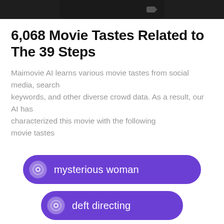[Figure (screenshot): Dark header bar with speech bubble / chat interface element at top of page]
6,068 Movie Tastes Related to The 39 Steps
Maimovie AI learns various movie tastes from social media, search keywords, and other diverse crowd data. As a result, our AI has characterized this movie with the following movie tastes
mysterious woman
deft directing
with MacGuffins